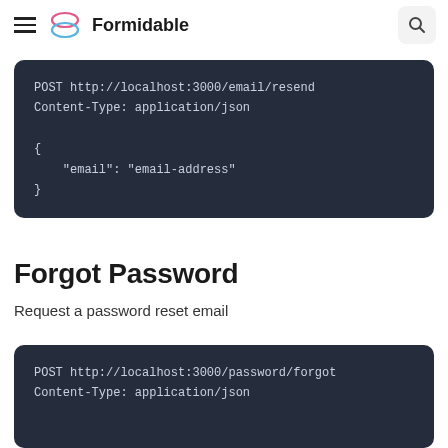Formidable
Resend Mail
Resend an email verification email to a user
[Figure (screenshot): Code block showing: POST http://localhost:3000/email/resend  Content-Type: application/json  {   "email": "email-address" }]
Forgot Password
Request a password reset email
[Figure (screenshot): Code block showing: POST http://localhost:3000/password/forgot  Content-Type: application/json]